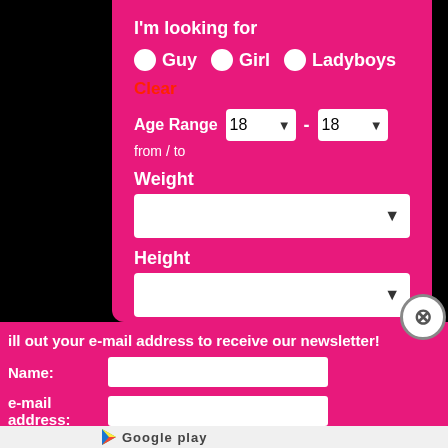I'm looking for
Guy  Girl  Ladyboys
Clear
Age Range  18 - 18
from / to
Weight
Height
ill out your e-mail address to receive our newsletter!
Name:
e-mail address:
Submit
Google play